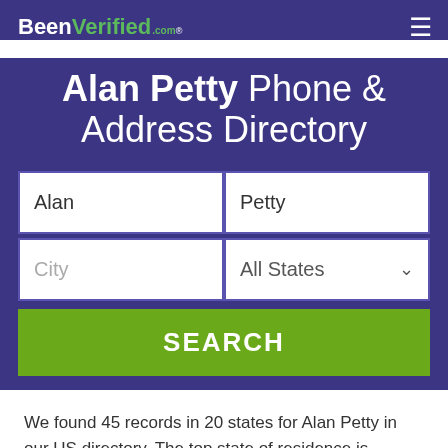BeenVerified.com
Alan Petty Phone & Address Directory
Alan | Petty | City | All States | SEARCH
We found 45 records in 20 states for Alan Petty in our US directory. The top state of residence is Pennsylvania, followed